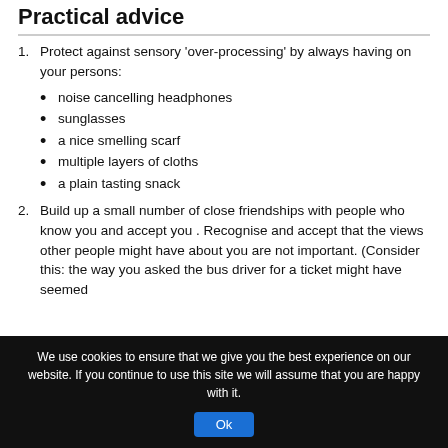Practical advice
1. Protect against sensory 'over-processing' by always having on your persons:
noise cancelling headphones
sunglasses
a nice smelling scarf
multiple layers of cloths
a plain tasting snack
2. Build up a small number of close friendships with people who know you and accept you . Recognise and accept that the views other people might have about you are not important. (Consider this: the way you asked the bus driver for a ticket might have seemed
We use cookies to ensure that we give you the best experience on our website. If you continue to use this site we will assume that you are happy with it.